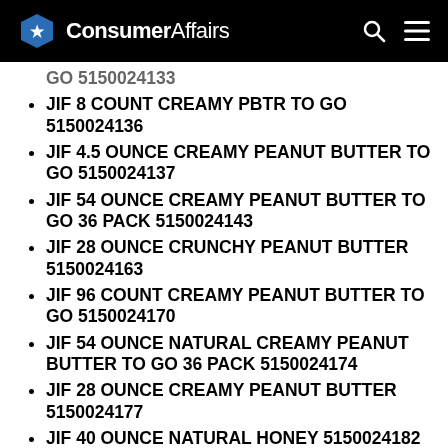ConsumerAffairs
GO 5150024133 (truncated/partial)
JIF 8 COUNT CREAMY PBTR TO GO 5150024136
JIF 4.5 OUNCE CREAMY PEANUT BUTTER TO GO 5150024137
JIF 54 OUNCE CREAMY PEANUT BUTTER TO GO 36 PACK 5150024143
JIF 28 OUNCE CRUNCHY PEANUT BUTTER 5150024163
JIF 96 COUNT CREAMY PEANUT BUTTER TO GO 5150024170
JIF 54 OUNCE NATURAL CREAMY PEANUT BUTTER TO GO 36 PACK 5150024174
JIF 28 OUNCE CREAMY PEANUT BUTTER 5150024177
JIF 40 OUNCE NATURAL HONEY 5150024182
JIF 12 OUNCE CREAMY PEANUT BUTTER (partial)